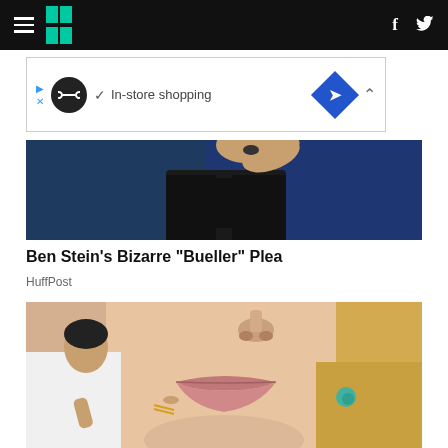HuffPost navigation header with hamburger menu, logo, Facebook and Twitter icons
[Figure (screenshot): Advertisement banner: play/close buttons, infinity-loop logo circle, checkmark, 'In-store shopping' text, blue diamond arrow icon, collapse caret]
[Figure (photo): Close-up photo of a man in a dark suit with pink shirt, gesturing with hand, blue background]
Ben Stein’s Bizarre “Bueller” Plea
HuffPost
[Figure (photo): Close-up photo of a woman's lips and lower face with blonde hair and turquoise earring; a man in white coat is touching her lip with a tool]